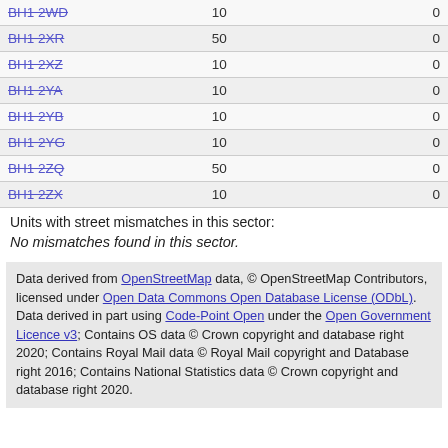| BH1 2WD | 10 | 0 |
| BH1 2XR | 50 | 0 |
| BH1 2XZ | 10 | 0 |
| BH1 2YA | 10 | 0 |
| BH1 2YB | 10 | 0 |
| BH1 2YG | 10 | 0 |
| BH1 2ZQ | 50 | 0 |
| BH1 2ZX | 10 | 0 |
Units with street mismatches in this sector:
No mismatches found in this sector.
Data derived from OpenStreetMap data, © OpenStreetMap Contributors, licensed under Open Data Commons Open Database License (ODbL). Data derived in part using Code-Point Open under the Open Government Licence v3; Contains OS data © Crown copyright and database right 2020; Contains Royal Mail data © Royal Mail copyright and Database right 2016; Contains National Statistics data © Crown copyright and database right 2020.